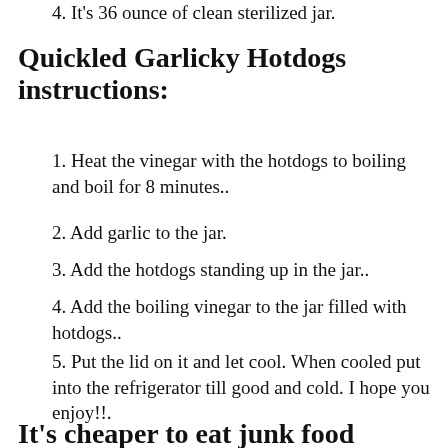4. It's 36 ounce of clean sterilized jar.
Quickled Garlicky Hotdogs instructions:
1. Heat the vinegar with the hotdogs to boiling and boil for 8 minutes..
2. Add garlic to the jar.
3. Add the hotdogs standing up in the jar..
4. Add the boiling vinegar to the jar filled with hotdogs..
5. Put the lid on it and let cool. When cooled put into the refrigerator till good and cold. I hope you enjoy!!.
It's cheaper to eat junk food